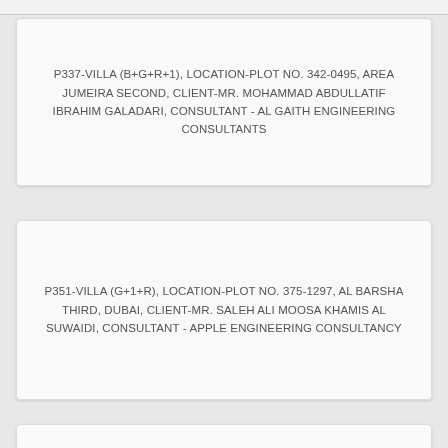P337-VILLA (B+G+R+1), LOCATION-PLOT NO. 342-0495, AREA JUMEIRA SECOND, CLIENT-MR. MOHAMMAD ABDULLATIF IBRAHIM GALADARI, CONSULTANT - AL GAITH ENGINEERING CONSULTANTS
P351-VILLA (G+1+R), LOCATION-PLOT NO. 375-1297, AL BARSHA THIRD, DUBAI, CLIENT-MR. SALEH ALI MOOSA KHAMIS AL SUWAIDI, CONSULTANT - APPLE ENGINEERING CONSULTANCY